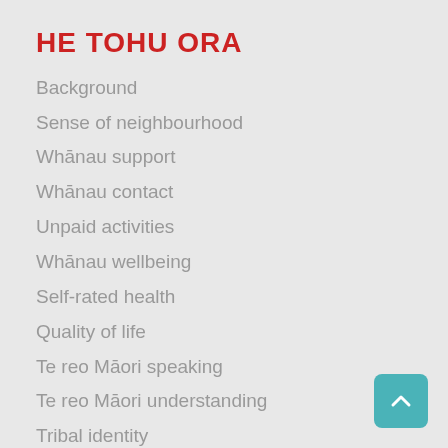HE TOHU ORA
Background
Sense of neighbourhood
Whānau support
Whānau contact
Unpaid activities
Whānau wellbeing
Self-rated health
Quality of life
Te reo Māori speaking
Te reo Māori understanding
Tribal identity
Visited marae
Tūrangawaewae connection
Cultural support